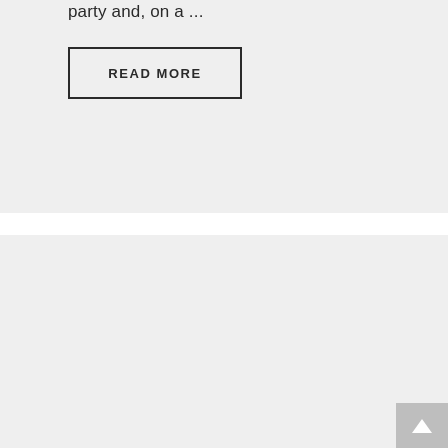party and, on a ...
READ MORE
[Figure (other): Scroll to top button with upward arrow]